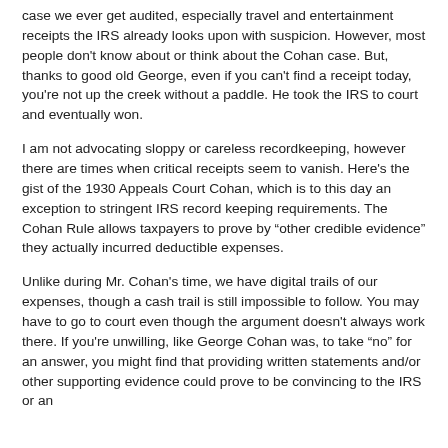case we ever get audited, especially travel and entertainment receipts the IRS already looks upon with suspicion. However, most people don't know about or think about the Cohan case. But, thanks to good old George, even if you can't find a receipt today, you're not up the creek without a paddle. He took the IRS to court and eventually won.
I am not advocating sloppy or careless recordkeeping, however there are times when critical receipts seem to vanish. Here's the gist of the 1930 Appeals Court Cohan, which is to this day an exception to stringent IRS record keeping requirements. The Cohan Rule allows taxpayers to prove by "other credible evidence" they actually incurred deductible expenses.
Unlike during Mr. Cohan's time, we have digital trails of our expenses, though a cash trail is still impossible to follow. You may have to go to court even though the argument doesn't always work there. If you're unwilling, like George Cohan was, to take "no" for an answer, you might find that providing written statements and/or other supporting evidence could prove to be convincing to the IRS or an